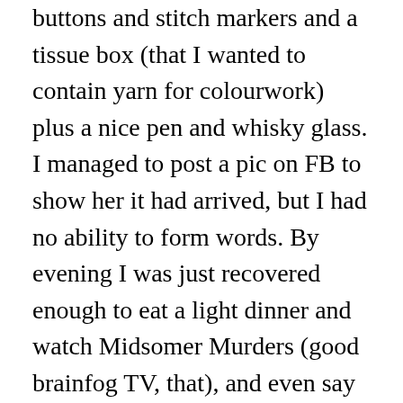buttons and stitch markers and a tissue box (that I wanted to contain yarn for colourwork) plus a nice pen and whisky glass. I managed to post a pic on FB to show her it had arrived, but I had no ability to form words. By evening I was just recovered enough to eat a light dinner and watch Midsomer Murders (good brainfog TV, that), and even say goodnight to the Bloke in actual English sentences.
Today, as I write, although I have slept adequately, I do expect malaise. And indeed my glands are up and painful and I'm aching, and no way was I going to exercise this morning. But I CAN use words now. I